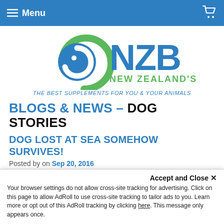≡ Menu
[Figure (logo): NZB New Zealand's Best logo with spiral swirl icon in blue and green, text 'NZB NEW ZEALAND'S BEST' and tagline 'THE BEST SUPPLEMENTS FOR YOU & YOUR ANIMALS']
BLOGS & NEWS – DOG STORIES
DOG LOST AT SEA SOMEHOW SURVIVES!
Posted by on Sep 20, 2016
When fisherman Nick Haworth realized that his beloved dog Luna had gone missing from his boat, he feared the worst...
Accept and Close ×
Your browser settings do not allow cross-site tracking for advertising. Click on this page to allow AdRoll to use cross-site tracking to tailor ads to you. Learn more or opt out of this AdRoll tracking by clicking here. This message only appears once.